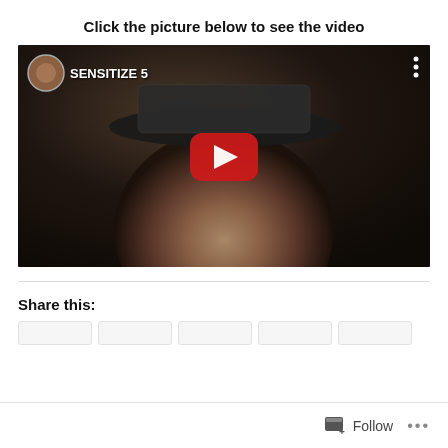Click the picture below to see the video
[Figure (screenshot): YouTube video thumbnail showing a man wearing a houndstooth fedora hat, with channel name 'SENSITIZE 5' and a YouTube play button overlay in the center.]
Share this:
Follow ...